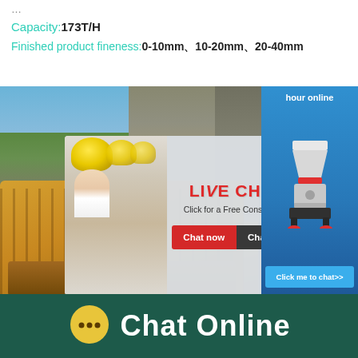Capacity:173T/H
Finished product fineness:0-10mm、10-20mm、20-40mm
[Figure (photo): Industrial mining/quarry site with conveyor belt machinery and equipment, overlaid with a live chat popup showing workers in yellow hard hats, chat buttons 'Chat now' and 'Chat later', and a side panel with a cone crusher machine image and 'Click me to chat>>' button]
Chat Online